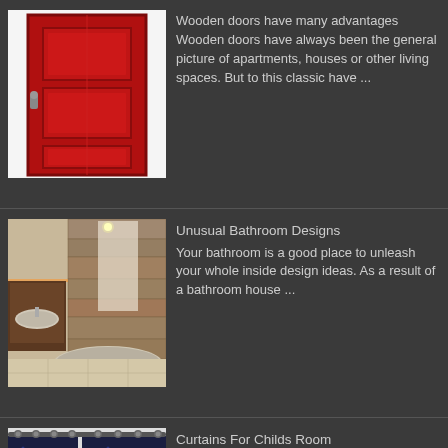[Figure (photo): Red wooden door on white background]
Wooden doors have many advantages Wooden doors have always been the general picture of apartments, houses or other living spaces. But to this classic have ...
[Figure (photo): Modern bathroom with stone wall, freestanding bathtub, and warm lighting]
Unusual Bathroom Designs
Your bathroom is a good place to unleash your whole inside design ideas. As a result of a bathroom house ...
[Figure (photo): Dark curtains with grommets, 100% Blackout label shown]
Curtains For Childs Room
Assist Selecting the Proper Curtains for Your Property If you see different folks's homes and assume that their decisions ...